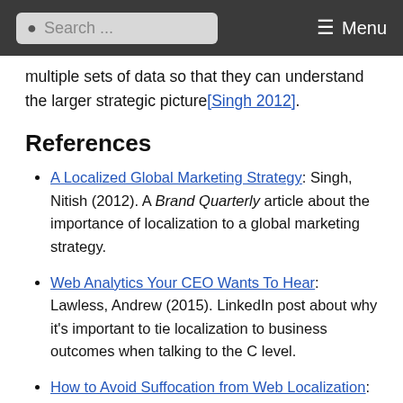Search ... Menu
multiple sets of data so that they can understand the larger strategic picture [Singh 2012].
References
A Localized Global Marketing Strategy: Singh, Nitish (2012). A Brand Quarterly article about the importance of localization to a global marketing strategy.
Web Analytics Your CEO Wants To Hear: Lawless, Andrew (2015). LinkedIn post about why it's important to tie localization to business outcomes when talking to the C level.
How to Avoid Suffocation from Web Localization: Lawless, Andrew (2015a). LinkedIn